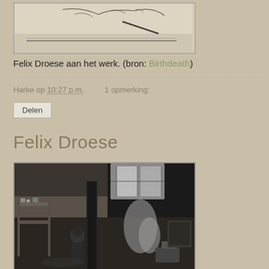[Figure (photo): Top portion of a photo showing Felix Droese at work, sepia/aged tones with sketches or drawings visible]
Felix Droese aan het werk. (bron: Birthdeath)
Harke op 10:27 p.m.   1 opmerking:
Delen
Felix Droese
[Figure (photo): Black and white photo of Felix Droese in his studio/workshop, showing a person in dark clothing among sculptures and workshop materials, with brick walls and large windows]